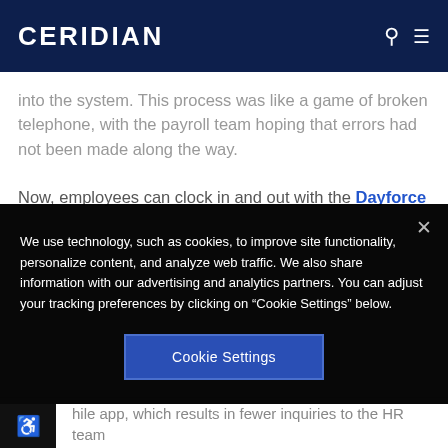CERIDIAN
into the system. This process was like a game of broken telephone, with the payroll team hoping that errors had not been made along the way.
Now, employees can clock in and out with the Dayforce
We use technology, such as cookies, to improve site functionality, personalize content, and analyze web traffic. We also share information with our advertising and analytics partners. You can adjust your tracking preferences by clicking on “Cookie Settings” below.
Cookie Settings
hile app, which results in fewer inquiries to the HR team